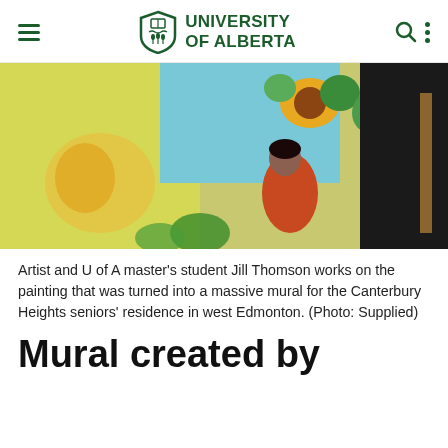UNIVERSITY OF ALBERTA
[Figure (photo): Artist Jill Thomson working on a colourful mural painting featuring a dancer in traditional dress, sunflowers and bright colours. She is seen from behind on the right side working at a large canvas.]
Artist and U of A master's student Jill Thomson works on the painting that was turned into a massive mural for the Canterbury Heights seniors' residence in west Edmonton. (Photo: Supplied)
Mural created by